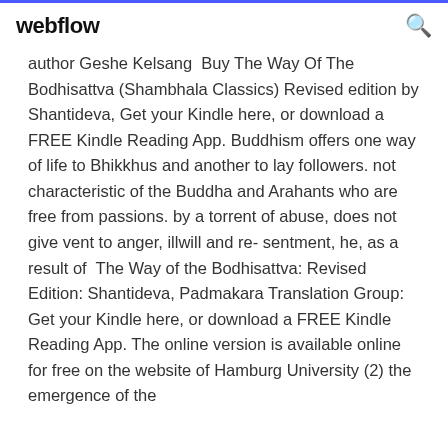webflow
author Geshe Kelsang  Buy The Way Of The Bodhisattva (Shambhala Classics) Revised edition by Shantideva, Get your Kindle here, or download a FREE Kindle Reading App. Buddhism offers one way of life to Bhikkhus and another to lay followers. not characteristic of the Buddha and Arahants who are free from passions. by a torrent of abuse, does not give vent to anger, illwill and re- sentment, he, as a result of  The Way of the Bodhisattva: Revised Edition: Shantideva, Padmakara Translation Group: Get your Kindle here, or download a FREE Kindle Reading App. The online version is available online for free on the website of Hamburg University (2) the emergence of the